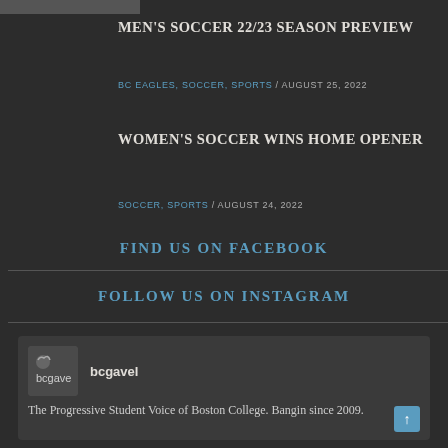MEN'S SOCCER 22/23 SEASON PREVIEW
BC EAGLES, SOCCER, SPORTS / AUGUST 25, 2022
WOMEN'S SOCCER WINS HOME OPENER
SOCCER, SPORTS / AUGUST 24, 2022
FIND US ON FACEBOOK
FOLLOW US ON INSTAGRAM
[Figure (screenshot): Instagram widget for bcgavel account. Shows logo, username 'bcgavel', and bio: 'The Progressive Student Voice of Boston College. Bangin since 2009.']